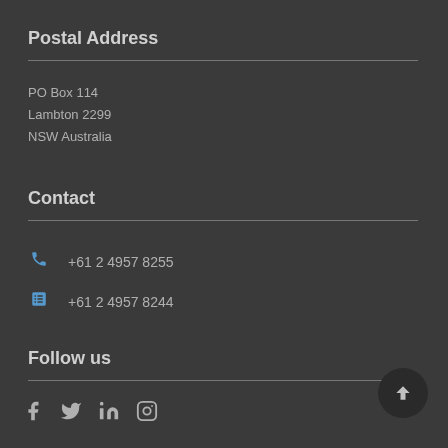Postal Address
PO Box 114
Lambton 2299
NSW Australia
Contact
+61 2 4957 8255
+61 2 4957 8244
Follow us
[Figure (other): Social media icons: Facebook, Twitter, LinkedIn, Instagram]